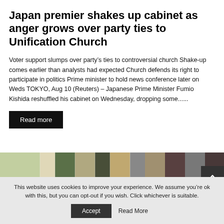Japan premier shakes up cabinet as anger grows over party ties to Unification Church
Voter support slumps over party’s ties to controversial church Shake-up comes earlier than analysts had expected Church defends its right to participate in politics Prime minister to hold news conference later on Weds TOKYO, Aug 10 (Reuters) – Japanese Prime Minister Fumio Kishida reshuffled his cabinet on Wednesday, dropping some......
Read more
[Figure (photo): A horizontal photo strip showing shelves or a market scene with various items in green, beige, and brown tones.]
This website uses cookies to improve your experience. We assume you’re ok with this, but you can opt-out if you wish. Click whichever is suitable.
Accept
Read More